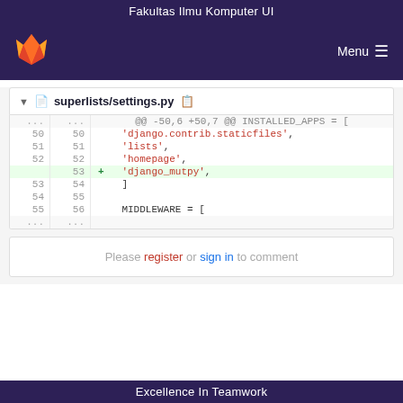Fakultas Ilmu Komputer UI
[Figure (screenshot): GitLab logo (fox head in orange/red)]
Menu
superlists/settings.py
[Figure (screenshot): Code diff showing superlists/settings.py with line numbers. @@ -50,6 +50,7 @@ INSTALLED_APPS = [ lines 50-55 showing 'django.contrib.staticfiles', 'lists', 'homepage', + 'django_mutpy', ] MIDDLEWARE = []
Please register or sign in to comment
Excellence In Teamwork